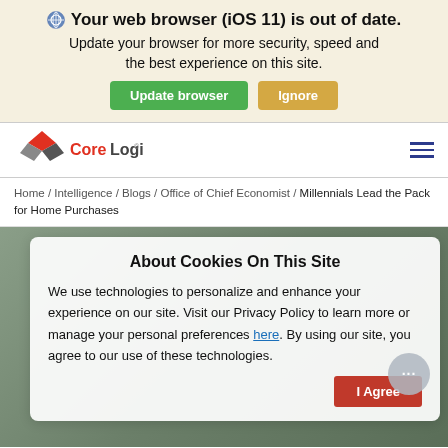Your web browser (iOS 11) is out of date. Update your browser for more security, speed and the best experience on this site.
Update browser | Ignore
[Figure (logo): CoreLogic logo with red diamond and grey geometric shapes]
Home / Intelligence / Blogs / Office of Chief Economist / Millennials Lead the Pack for Home Purchases
About Cookies On This Site
We use technologies to personalize and enhance your experience on our site. Visit our Privacy Policy to learn more or manage your personal preferences here. By using our site, you agree to our use of these technologies.
I Agree